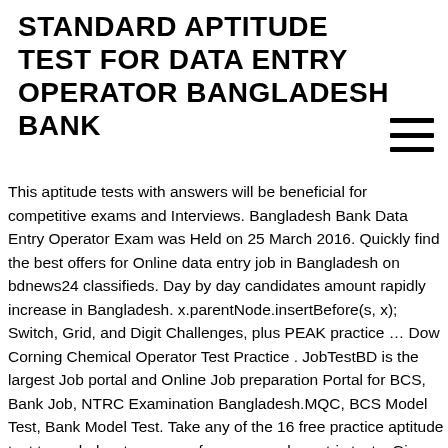STANDARD APTITUDE TEST FOR DATA ENTRY OPERATOR BANGLADESH BANK
This aptitude tests with answers will be beneficial for competitive exams and Interviews. Bangladesh Bank Data Entry Operator Exam was Held on 25 March 2016. Quickly find the best offers for Online data entry job in Bangladesh on bdnews24 classifieds. Day by day candidates amount rapidly increase in Bangladesh. x.parentNode.insertBefore(s, x); Switch, Grid, and Digit Challenges, plus PEAK practice … Dow Corning Chemical Operator Test Practice . JobTestBD is the largest Job portal and Online Job preparation Portal for BCS, Bank Job, NTRC Examination Bangladesh.MQC, BCS Model Test, Bank Model Test. Take any of the 16 free practice aptitude test types below to prepare for your psychometric tests. Given below are the important practice questions and answers for Bank exams of SBI Clerk, SBI PO, IBPS PO, IBPS Clerk, IBPS RRB, and RBI Grade-B & Assistant with solutions. These General Aptitude Test Questions & Answers are for class 12th and c ollege students.And also for any bank clerk or other requirement written test